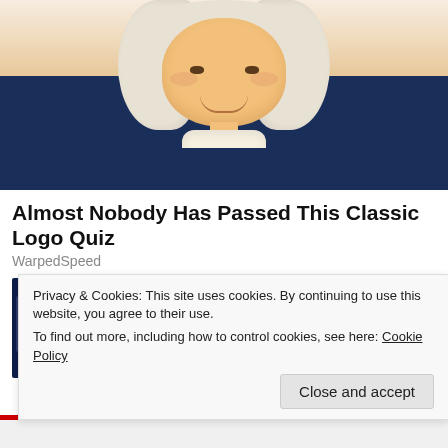[Figure (illustration): Illustration of a historical figure in a white powdered wig and dark blue colonial coat with white cravat, smiling, upper body portrait style]
Almost Nobody Has Passed This Classic Logo Quiz
WarpedSpeed
[Figure (photo): Thumbnail photo of computer screens showing data dashboards and a bookshelf in the background]
Search For Software Companies
Yahoo! Search
Privacy & Cookies: This site uses cookies. By continuing to use this website, you agree to their use.
To find out more, including how to control cookies, see here: Cookie Policy
Close and accept